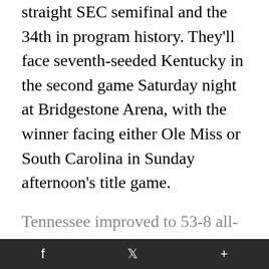straight SEC semifinal and the 34th in program history. They'll face seventh-seeded Kentucky in the second game Saturday night at Bridgestone Arena, with the winner facing either Ole Miss or South Carolina in Sunday afternoon's title game.
Tennessee improved to 53-8 all-time against Alabama, this time getting payback for a 74-64 loss in Tuscaloosa on Feb. 17, when Jordan Horston - the Lady Vols' leading scorer this seson - hit the court late in the game and fractured and dislocated her left elbow, an injury that could keep her out the rest of this
f   𝕏   +